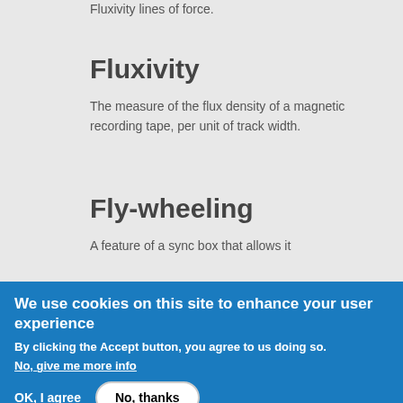Fluxivity
The measure of the flux density of a magnetic recording tape, per unit of track width.
Fly-wheeling
A feature of a sync box that allows it
We use cookies on this site to enhance your user experience
By clicking the Accept button, you agree to us doing so.
No, give me more info
OK, I agree
No, thanks